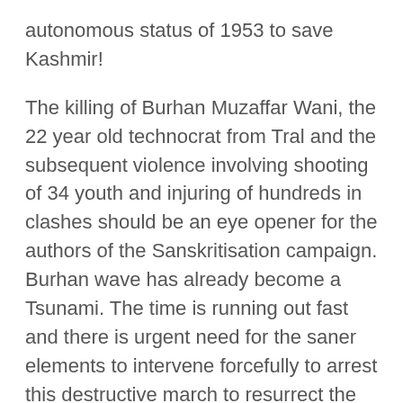autonomous status of 1953 to save Kashmir!
The killing of Burhan Muzaffar Wani, the 22 year old technocrat from Tral and the subsequent violence involving shooting of 34 youth and injuring of hundreds in clashes should be an eye opener for the authors of the Sanskritisation campaign. Burhan wave has already become a Tsunami. The time is running out fast and there is urgent need for the saner elements to intervene forcefully to arrest this destructive march to resurrect the past. As far as the panic among the locals regarding Hinduisation of Kashmir is concerned, they need not be unduly alarmed. The history always moves forward. There is no evidence of a backward march of history anywhere in the world!